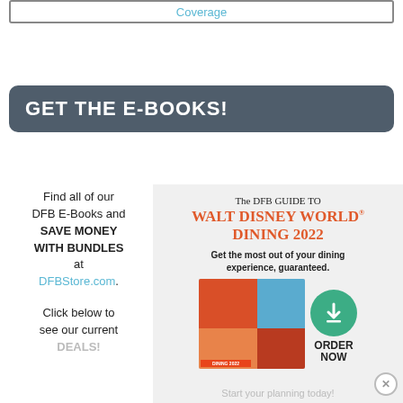Coverage
GET THE E-BOOKS!
Find all of our DFB E-Books and SAVE MONEY WITH BUNDLES at DFBStore.com.

Click below to see our current DEALS!
[Figure (illustration): Advertisement for The DFB Guide to Walt Disney World Dining 2022 with book cover mosaic image and green download/order button. Text: The DFB GUIDE TO WALT DISNEY WORLD DINING 2022 – Get the most out of your dining experience, guaranteed. ORDER NOW. Start your planning today!]